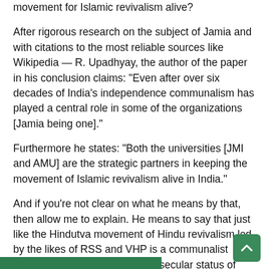movement for Islamic revivalism alive?
After rigorous research on the subject of Jamia and with citations to the most reliable sources like Wikipedia — R. Upadhyay, the author of the paper in his conclusion claims: “Even after over six decades of India’s independence communalism has played a central role in some of the organizations [Jamia being one].”
Furthermore he states: “Both the universities [JMI and AMU] are the strategic partners in keeping the movement of Islamic revivalism alive in India.”
And if you’re not clear on what he means by that, then allow me to explain. He means to say that just like the Hindutva movement of Hindu revivalism led by the likes of RSS and VHP is a communalist movement and a danger to the secular status of India, so is the movement of Islamic revivalism of which JMI and AMU are a part.
The paper might have very little value in terms of